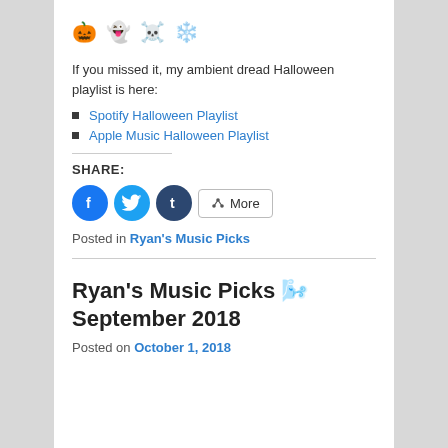🎃 👻 ☠️ ❄️
If you missed it, my ambient dread Halloween playlist is here:
Spotify Halloween Playlist
Apple Music Halloween Playlist
SHARE:
[Figure (other): Social share buttons: Facebook (blue circle with f), Twitter (light blue circle with bird), Tumblr (dark blue circle with t), and a More button with share icon]
Posted in Ryan's Music Picks
Ryan's Music Picks 🌬️ September 2018
Posted on October 1, 2018